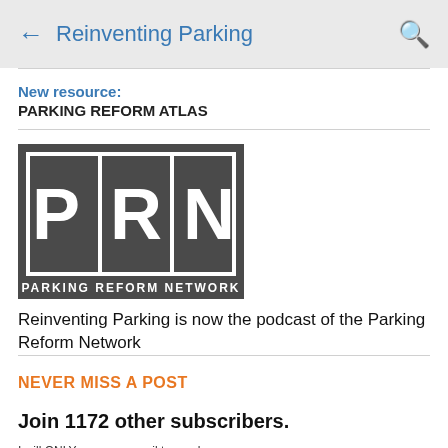← Reinventing Parking 🔍
New resource:
PARKING REFORM ATLAS
[Figure (logo): Parking Reform Network (PRN) logo: dark gray background with white letters P, R, N separated by vertical lines, and 'PARKING REFORM NETWORK' text below]
Reinventing Parking is now the podcast of the Parking Reform Network
NEVER MISS A POST
Join 1172 other subscribers.
I will ONLY use your email to send updates about new content on this site
email address